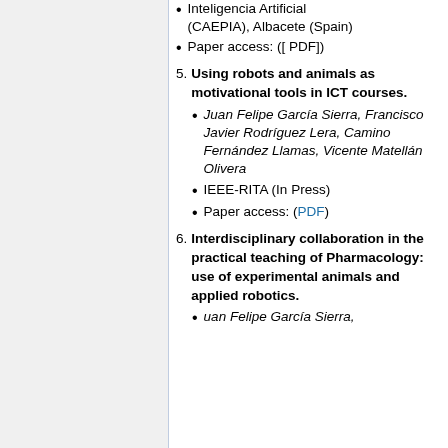Asociación Española para la Inteligencia Artificial (CAEPIA), Albacete (Spain)
Paper access: ([ PDF])
5. Using robots and animals as motivational tools in ICT courses.
Juan Felipe García Sierra, Francisco Javier Rodríguez Lera, Camino Fernández Llamas, Vicente Matellán Olivera
IEEE-RITA (In Press)
Paper access: (PDF)
6. Interdisciplinary collaboration in the practical teaching of Pharmacology: use of experimental animals and applied robotics.
uan Felipe García Sierra,